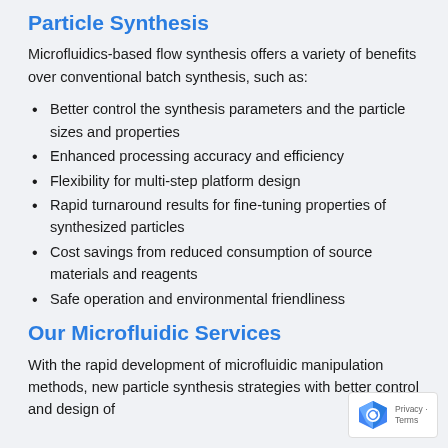Particle Synthesis
Microfluidics-based flow synthesis offers a variety of benefits over conventional batch synthesis, such as:
Better control the synthesis parameters and the particle sizes and properties
Enhanced processing accuracy and efficiency
Flexibility for multi-step platform design
Rapid turnaround results for fine-tuning properties of synthesized particles
Cost savings from reduced consumption of source materials and reagents
Safe operation and environmental friendliness
Our Microfluidic Services
With the rapid development of microfluidic manipulation methods, new particle synthesis strategies with better control and design of